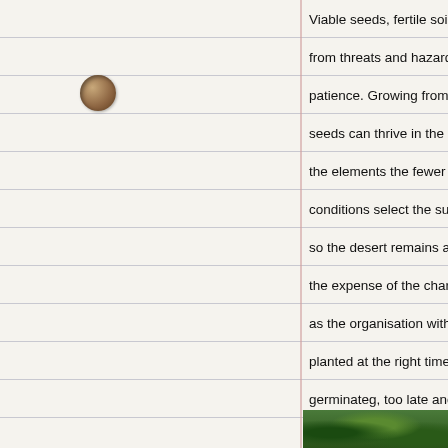Viable seeds, fertile soil, clean water, enough light, protection from threats and hazards, especially in the early stages, patience. Growing from seed takes time. Not all seeds can thrive in the context our gardener is in. The harsher the elements the fewer the types of seed that can survive – conditions select the successful seeds. Desert conditions so the desert remains a desert. If money is too scarce only the expense of the charitable – and money retreating as the organisation withers. And the timing is crucial – planted at the right time in the cycle of change – too early germinateg, too late and they do not have time to survive in the real world.
? Yes. I see. The deeper you dig into your seed metaphor the more insightful it becomes.
Bob, you just said something really profound that clicked for me.
? Did I? What was it?
[Figure (photo): A small photo strip showing green garden/plant foliage]